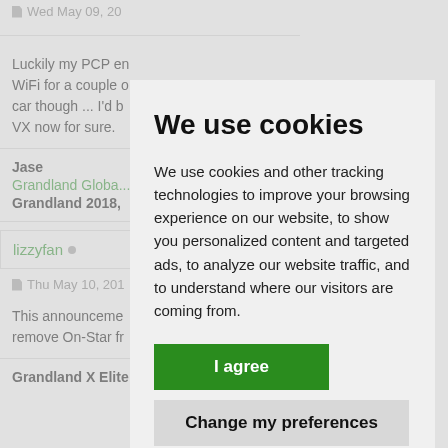Wed May 09, 20...
Luckily my PCP en... WiFi for a couple o... car though ... I'd b... VX now for sure.
Jase
Grandland Globa...
Grandland 2018,...
lizzyfan
Thu May 10, 201...
This announceme... remove On-Star fr...
Grandland X Elite...
We use cookies
We use cookies and other tracking technologies to improve your browsing experience on our website, to show you personalized content and targeted ads, to analyze our website traffic, and to understand where our visitors are coming from.
I agree
Change my preferences